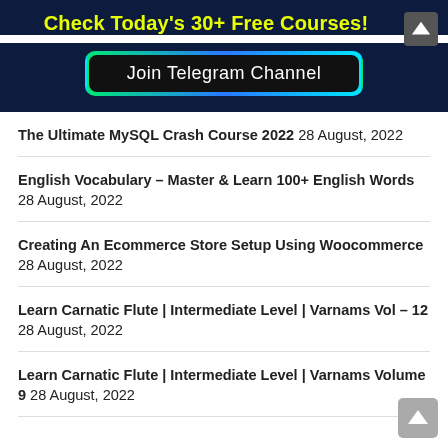Check Today's 30+ Free Courses!
[Figure (infographic): Join Telegram Channel button with glowing green/blue border on dark background]
The Ultimate MySQL Crash Course 2022 28 August, 2022
English Vocabulary – Master & Learn 100+ English Words 28 August, 2022
Creating An Ecommerce Store Setup Using Woocommerce 28 August, 2022
Learn Carnatic Flute | Intermediate Level | Varnams Vol – 12 28 August, 2022
Learn Carnatic Flute | Intermediate Level | Varnams Volume 9 28 August, 2022